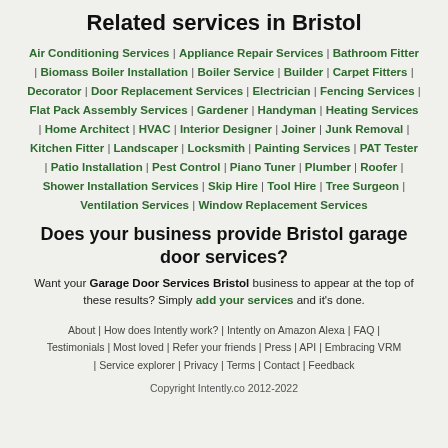Related services in Bristol
Air Conditioning Services | Appliance Repair Services | Bathroom Fitter | Biomass Boiler Installation | Boiler Service | Builder | Carpet Fitters | Decorator | Door Replacement Services | Electrician | Fencing Services | Flat Pack Assembly Services | Gardener | Handyman | Heating Services | Home Architect | HVAC | Interior Designer | Joiner | Junk Removal | Kitchen Fitter | Landscaper | Locksmith | Painting Services | PAT Tester | Patio Installation | Pest Control | Piano Tuner | Plumber | Roofer | Shower Installation Services | Skip Hire | Tool Hire | Tree Surgeon | Ventilation Services | Window Replacement Services
Does your business provide Bristol garage door services?
Want your Garage Door Services Bristol business to appear at the top of these results? Simply add your services and it's done.
About | How does Intently work? | Intently on Amazon Alexa | FAQ | Testimonials | Most loved | Refer your friends | Press | API | Embracing VRM | Service explorer | Privacy | Terms | Contact | Feedback
Copyright Intently.co 2012-2022